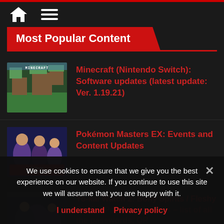Navigation bar with home and menu icons
Most Popular Content
Minecraft (Nintendo Switch): Software updates (latest update: Ver. 1.19.21)
Pokémon Masters EX: Events and Content Updates
Yo-kai Watch 2: Bony Spirits / Fleshy Souls / Psychic Specters – list of all the passwords, QR
We use cookies to ensure that we give you the best experience on our website. If you continue to use this site we will assume that you are happy with it.
I understand   Privacy policy